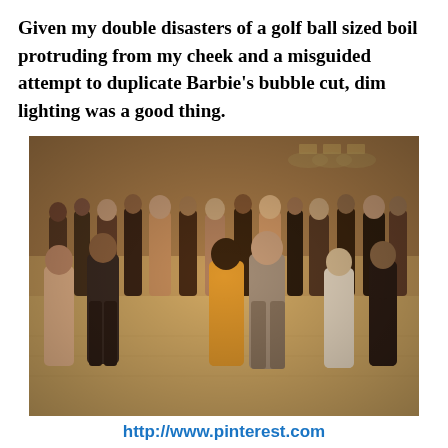Given my double disasters of a golf ball sized boil protruding from my cheek and a misguided attempt to duplicate Barbie's bubble cut, dim lighting was a good thing.
[Figure (photo): Vintage black and white / sepia-toned photograph of a crowded school dance or social event from the 1960s. Many teenagers dancing on a wooden floor in a large room with dim overhead lighting. Girls wear short dresses and skirts; boys wear trousers and jackets.]
http://www.pinterest.com
Kathy, a few of her school friends, and I danced to the live music of a local band. An hour into the dance,